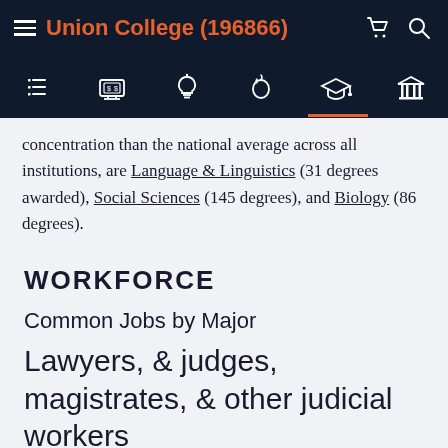Union College (196866)
concentration than the national average across all institutions, are Language & Linguistics (31 degrees awarded), Social Sciences (145 degrees), and Biology (86 degrees).
WORKFORCE
Common Jobs by Major
Lawyers, & judges, magistrates, & other judicial workers
MOST COMMON JOB
The most common jobs for people who hold a degree in one